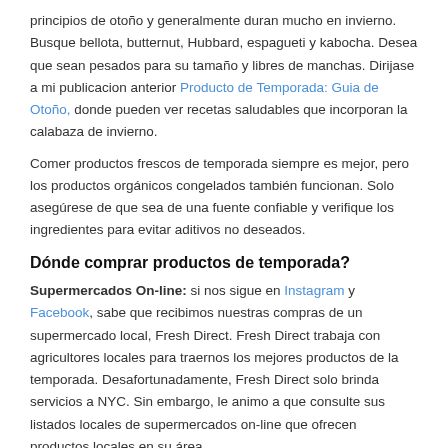principios de otoño y generalmente duran mucho en invierno. Busque bellota, butternut, Hubbard, espagueti y kabocha. Desea que sean pesados para su tamaño y libres de manchas. Dirijase a mi publicacion anterior Producto de Temporada: Guia de Otoño, donde pueden ver recetas saludables que incorporan la calabaza de invierno.
Comer productos frescos de temporada siempre es mejor, pero los productos orgánicos congelados también funcionan. Solo asegúrese de que sea de una fuente confiable y verifique los ingredientes para evitar aditivos no deseados.
Dónde comprar productos de temporada?
Supermercados On-line: si nos sigue en Instagram y Facebook, sabe que recibimos nuestras compras de un supermercado local, Fresh Direct. Fresh Direct trabaja con agricultores locales para traernos los mejores productos de la temporada. Desafortunadamente, Fresh Direct solo brinda servicios a NYC. Sin embargo, le animo a que consulte sus listados locales de supermercados on-line que ofrecen productos locales en su área.
Farmers Markets (o los mercado de agricultores) son buenos lugares para comprar productos locales y aprovechar descuentos. ¡Además puedes